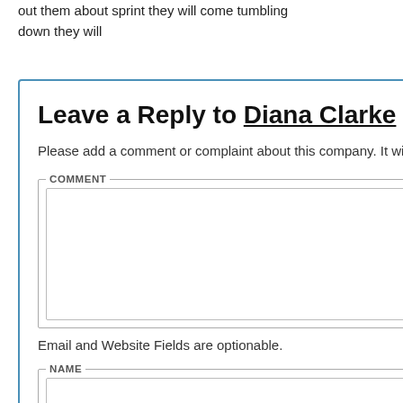out them about sprint they will come tumbling down they will
Leave a Reply to Diana Clarke Cancel reply
Please add a comment or complaint about this company. It will help other users.
Email and Website Fields are optionable.
OMG, worst customer service ever. I got the service October 11, 2016 Until present of December 15, 2016, I